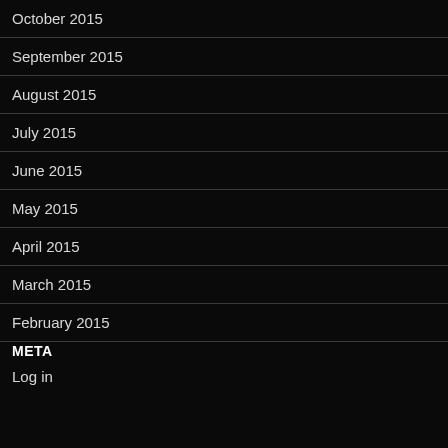October 2015
September 2015
August 2015
July 2015
June 2015
May 2015
April 2015
March 2015
February 2015
META
Log in